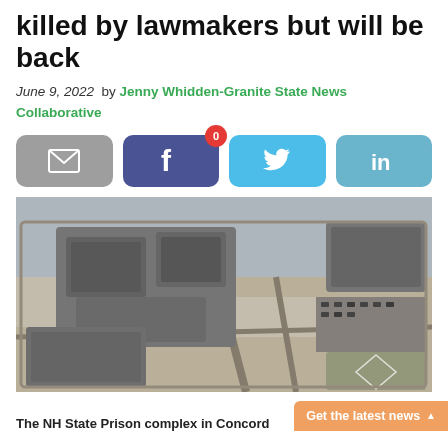killed by lawmakers but will be back
June 9, 2022  by Jenny Whidden-Granite State News Collaborative
[Figure (other): Social sharing buttons: email, Facebook (with 0 notification badge), Twitter, LinkedIn]
[Figure (photo): Aerial view of the NH State Prison complex in Concord, showing prison buildings surrounded by walls, parking lots, and a baseball field in winter/early spring with light snow on the ground]
The NH State Prison complex in Concord